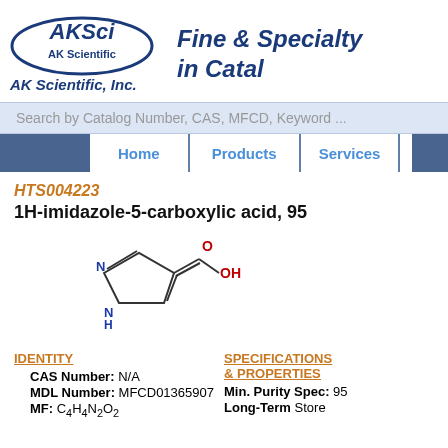[Figure (logo): AKSci / AK Scientific, Inc. logo with oval border and tagline 'Fine & Specialty in Catalog']
Search by Catalog Number, CAS, MFCD, Keyword ...
Home | Products | Services
HTS004223
1H-imidazole-5-carboxylic acid, 95
[Figure (illustration): Chemical structure of 1H-imidazole-5-carboxylic acid showing imidazole ring with COOH group, with N and NH labeled in blue and O and OH in red]
IDENTITY
CAS Number: N/A
MDL Number: MFCD01365907
MF: C4H4N2O2
SPECIFICATIONS & PROPERTIES
Min. Purity Spec: 95
Long-Term Store